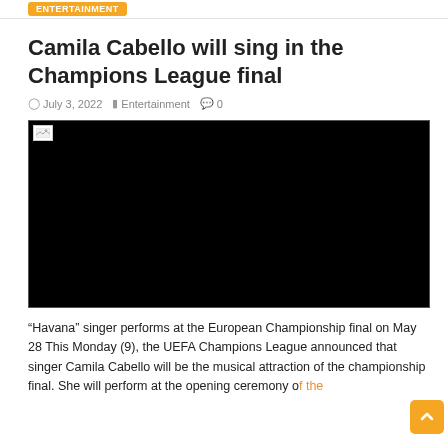Camila Cabello will sing in the Champions League final
July 3, 2022  Entertainment  0
[Figure (photo): Black video player embed area with broken image icon in top left corner]
“Havana” singer performs at the European Championship final on May 28 This Monday (9), the UEFA Champions League announced that singer Camila Cabello will be the musical attraction of the championship final. She will perform at the opening ceremony of the